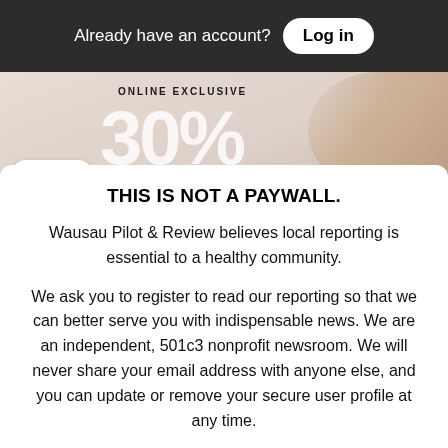Already have an account? Log in
[Figure (screenshot): Online exclusive 30% off advertisement banner with a close button overlay]
THIS IS NOT A PAYWALL.
Wausau Pilot & Review believes local reporting is essential to a healthy community.
We ask you to register to read our reporting so that we can better serve you with indispensable news. We are an independent, 501c3 nonprofit newsroom. We will never share your email address with anyone else, and you can update or remove your secure user profile at any time.